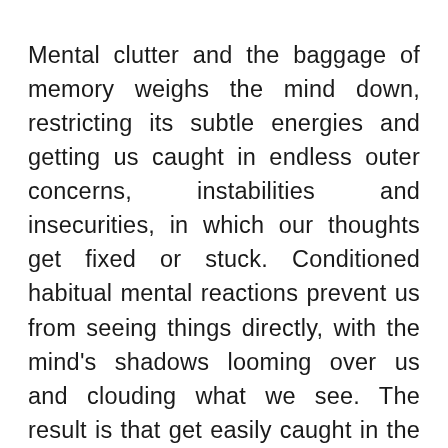Mental clutter and the baggage of memory weighs the mind down, restricting its subtle energies and getting us caught in endless outer concerns, instabilities and insecurities, in which our thoughts get fixed or stuck. Conditioned habitual mental reactions prevent us from seeing things directly, with the mind's shadows looming over us and clouding what we see. The result is that get easily caught in the same old limiting situations, relationships, emotions, actions or expressions, and don't know how to free ourselves from these.